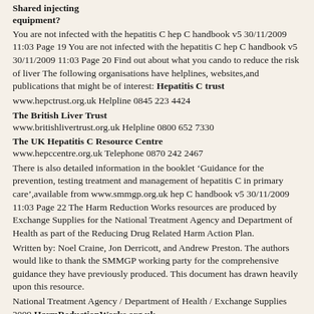Shared injecting equipment?
You are not infected with the hepatitis C hep C handbook v5 30/11/2009 11:03 Page 19 You are not infected with the hepatitis C hep C handbook v5 30/11/2009 11:03 Page 20 Find out about what you cando to reduce the risk of liver The following organisations have helplines, websites,and publications that might be of interest: Hepatitis C trust
www.hepctrust.org.uk Helpline 0845 223 4424
The British Liver Trust
www.britishlivertrust.org.uk Helpline 0800 652 7330
The UK Hepatitis C Resource Centre
www.hepccentre.org.uk Telephone 0870 242 2467
There is also detailed information in the booklet ‘Guidance for the prevention, testing treatment and management of hepatitis C in primary care’,available from www.smmgp.org.uk hep C handbook v5 30/11/2009 11:03 Page 22 The Harm Reduction Works resources are produced by Exchange Supplies for the National Treatment Agency and Department of Health as part of the Reducing Drug Related Harm Action Plan.
Written by: Noel Craine, Jon Derricott, and Andrew Preston. The authors would like to thank the SMMGP working party for the comprehensive guidance they have previously produced. This document has drawn heavily upon this resource.
National Treatment Agency / Department of Health / Exchange Supplies 2009 HarmReductionWorks.org.uk
Source:
http://www.bucksdaat.co.uk/attachments/122_HRW%20hep%20C
simt.plymouth.ac.uk